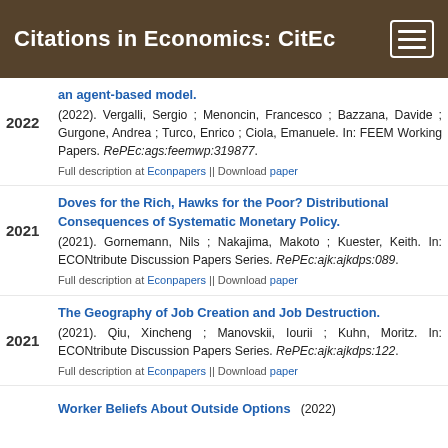Citations in Economics: CitEc
an agent-based model. (2022). Vergalli, Sergio ; Menoncin, Francesco ; Bazzana, Davide ; Gurgone, Andrea ; Turco, Enrico ; Ciola, Emanuele. In: FEEM Working Papers. RePEc:ags:feemwp:319877.
Full description at Econpapers || Download paper
Doves for the Rich, Hawks for the Poor? Distributional Consequences of Systematic Monetary Policy. (2021). Gornemann, Nils ; Nakajima, Makoto ; Kuester, Keith. In: ECONtribute Discussion Papers Series. RePEc:ajk:ajkdps:089.
Full description at Econpapers || Download paper
The Geography of Job Creation and Job Destruction. (2021). Qiu, Xincheng ; Manovskii, Iourii ; Kuhn, Moritz. In: ECONtribute Discussion Papers Series. RePEc:ajk:ajkdps:122.
Full description at Econpapers || Download paper
Worker Beliefs About Outside Options (2022)